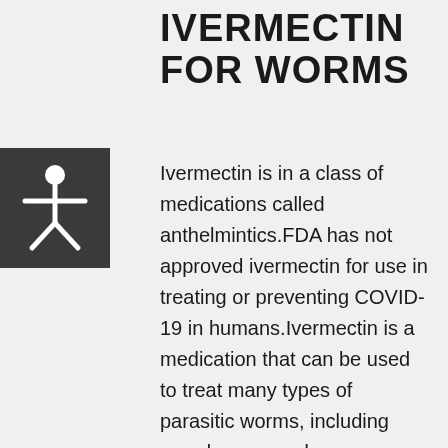IVERMECTIN FOR WORMS
[Figure (illustration): Accessibility icon: white stick figure person with arms outstretched on dark grey/charcoal square background]
Ivermectin is in a class of medications called anthelmintics.FDA has not approved ivermectin for use in treating or preventing COVID-19 in humans.Ivermectin is a medication that can be used to treat many types of parasitic worms, including roundworms and hookworms.Ivermectin is in a class of medications called anthelmintics.If your doctor prescribes these two medicines together, it is important to take the corticosteroid along with ivermectin.What worms does ivermectin treat Additionally, there is a topical form of Ivermectin approved to use for external parasites including head